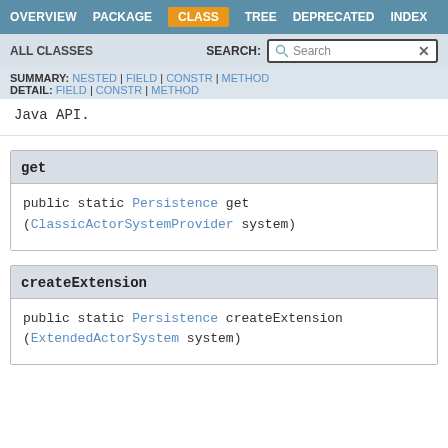OVERVIEW  PACKAGE  CLASS  TREE  DEPRECATED  INDEX
ALL CLASSES   SEARCH: Search
SUMMARY: NESTED | FIELD | CONSTR | METHOD
DETAIL: FIELD | CONSTR | METHOD
Java API.
get
public static Persistence get
(ClassicActorSystemProvider system)
createExtension
public static Persistence createExtension
(ExtendedActorSystem system)